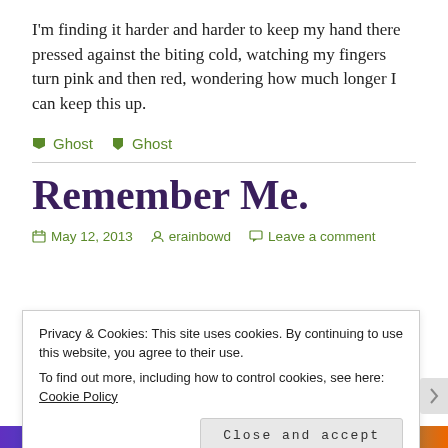I'm finding it harder and harder to keep my hand there pressed against the biting cold, watching my fingers turn pink and then red, wondering how much longer I can keep this up.
Ghost   Ghost
Remember Me.
May 12, 2013   erainbowd   Leave a comment
Privacy & Cookies: This site uses cookies. By continuing to use this website, you agree to their use.
To find out more, including how to control cookies, see here: Cookie Policy